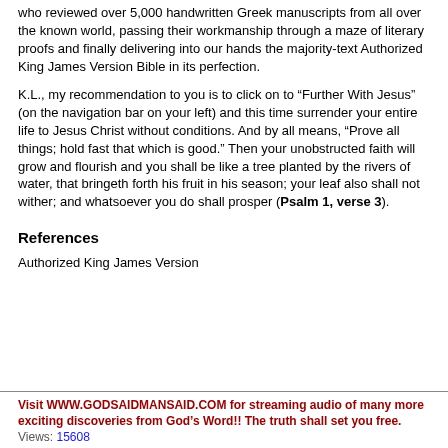who reviewed over 5,000 handwritten Greek manuscripts from all over the known world, passing their workmanship through a maze of literary proofs and finally delivering into our hands the majority-text Authorized King James Version Bible in its perfection.
K.L., my recommendation to you is to click on to “Further With Jesus” (on the navigation bar on your left) and this time surrender your entire life to Jesus Christ without conditions. And by all means, “Prove all things; hold fast that which is good.” Then your unobstructed faith will grow and flourish and you shall be like a tree planted by the rivers of water, that bringeth forth his fruit in his season; your leaf also shall not wither; and whatsoever you do shall prosper (Psalm 1, verse 3).
References
Authorized King James Version
Visit WWW.GODSAIDMANSAID.COM for streaming audio of many more exciting discoveries from God's Word!! The truth shall set you free.
Views: 15608